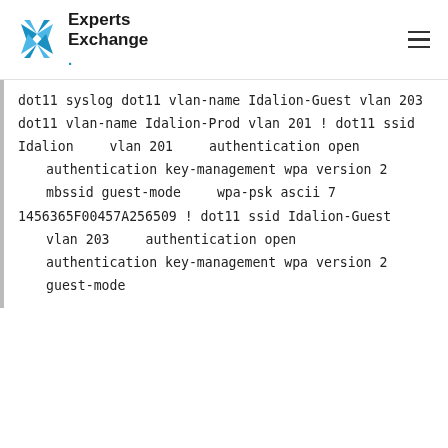Experts Exchange
dot11 syslog
dot11 vlan-name Idalion-Guest vlan 203
dot11 vlan-name Idalion-Prod vlan 201
!
dot11 ssid Idalion
   vlan 201
   authentication open
   authentication key-management wpa version 2
   mbssid guest-mode
   wpa-psk ascii 7 1456365F00457A256509
!
dot11 ssid Idalion-Guest
   vlan 203
   authentication open
   authentication key-management wpa version 2
   guest-mode